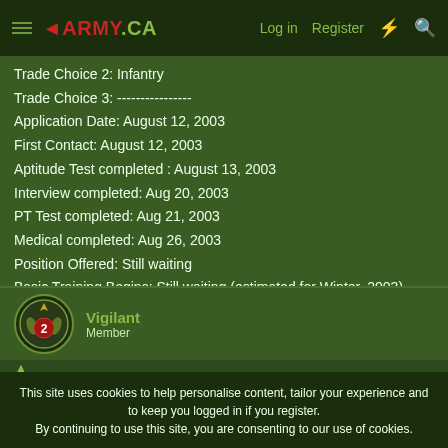◄ARMY.CA  Log in  Register
Trade Choice 2: Infantry
Trade Choice 3: ----------------
Application Date: August 12, 2003
First Contact: August 12, 2003
Aptitude Test completed : August 13, 2003
Interview completed: Aug 20, 2003
PT Test completed: Aug 21, 2003
Medical completed: Aug 26, 2003
Position Offered: Still waiting
Basic Training Begins: Still waiting (estimated for Winter, 2003)
Vigilant
Member
This site uses cookies to help personalise content, tailor your experience and to keep you logged in if you register.
By continuing to use this site, you are consenting to our use of cookies.